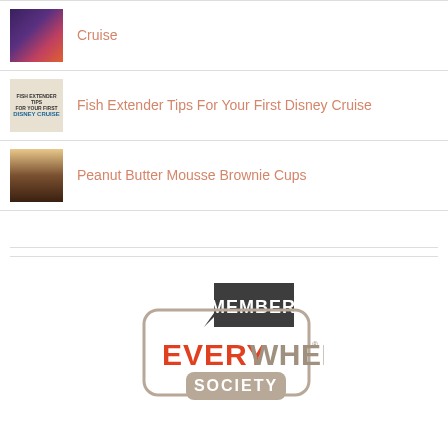Cruise
Fish Extender Tips For Your First Disney Cruise
Peanut Butter Mousse Brownie Cups
[Figure (logo): Member Everywhere Society badge/logo with dark grey speech bubble containing 'MEMBER' in white, and a rounded rectangle border containing 'EVERY' in red/orange and 'WHERE SOCIETY' in grey]